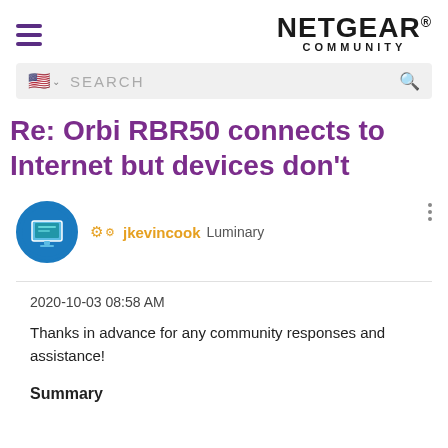NETGEAR COMMUNITY
Re: Orbi RBR50 connects to Internet but devices don't
jkevincook Luminary
2020-10-03 08:58 AM
Thanks in advance for any community responses and assistance!
Summary